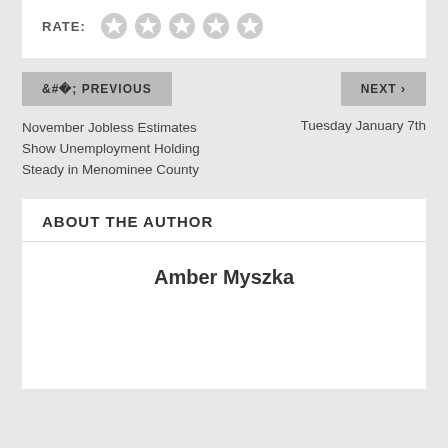RATE:
[Figure (other): Five empty star rating icons]
< PREVIOUS
NEXT >
November Jobless Estimates Show Unemployment Holding Steady in Menominee County
Tuesday January 7th
ABOUT THE AUTHOR
Amber Myszka